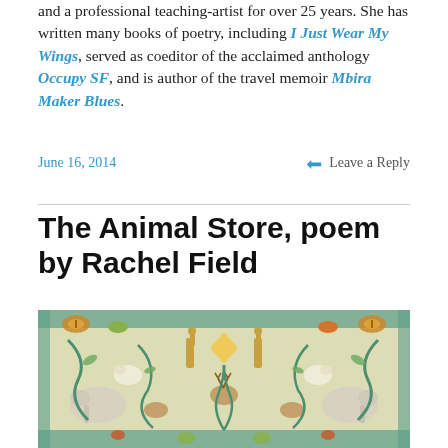and a professional teaching-artist for over 25 years. She has written many books of poetry, including I Just Wear My Wings, served as coeditor of the acclaimed anthology Occupy SF, and is author of the travel memoir Mbira Maker Blues.
June 16, 2014    Leave a Reply
The Animal Store, poem by Rachel Field
[Figure (illustration): Decorative illustration featuring symmetrical arrangement of various animals including giraffes, elephants, deer, birds, butterflies, and foliage in a tapestry-like style with teal/blue and cream colors.]